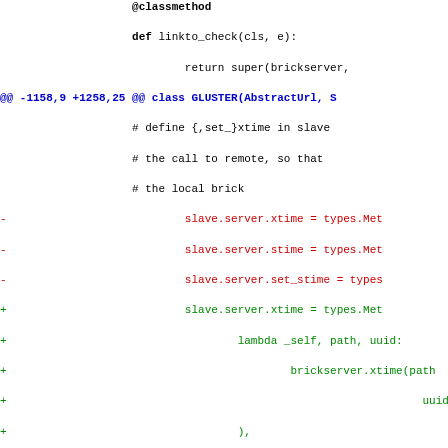diff/patch code view showing git diff output with added and removed lines
[Figure (screenshot): Source code diff view showing Python code changes. Context lines show @classmethod def linkto_check and return super(brickserver. Hunk header: @@ -1158,9 +1258,25 @@ class GLUSTER(AbstractUrl, S. Removed lines (red) show slave.server.xtime, stime, set_stime assignments. Added lines (green) show expanded lambda-based assignments for slave.server.xtime, stime, set_stime with brickserver method calls. Last context line shows (g1, g2) = self.gmaster.instantiat]